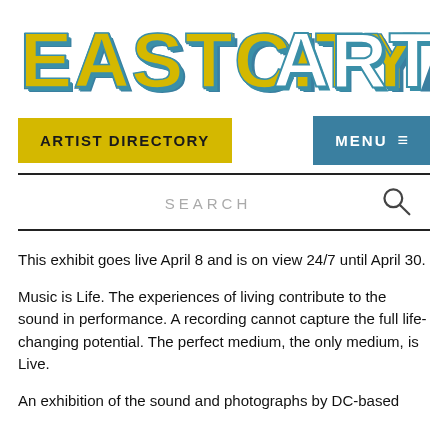[Figure (logo): EastCityArt logo in large block letters with yellow fill and teal/blue shadow effect. 'EASTCITY' in yellow with teal shadow, 'ART' in white/outline with teal shadow.]
ARTIST DIRECTORY
MENU ☰
SEARCH
This exhibit goes live April 8 and is on view 24/7 until April 30.
Music is Life. The experiences of living contribute to the sound in performance. A recording cannot capture the full life-changing potential. The perfect medium, the only medium, is Live.
An exhibition of the sound and photographs by DC-based